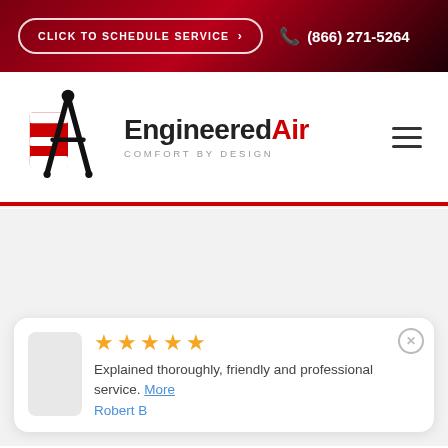CLICK TO SCHEDULE SERVICE > | (866) 271-5264
[Figure (logo): EngineeredAir logo with compass icon and tagline COMFORT BY DESIGN]
Explained thoroughly, friendly and professional service. More
Robert B